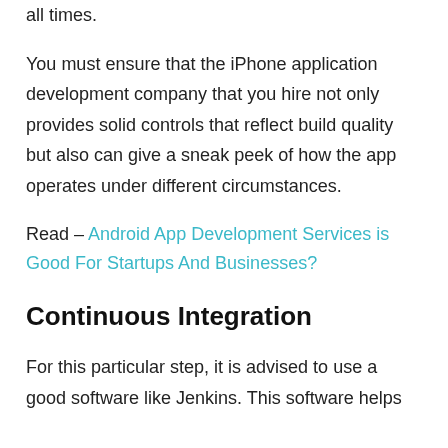all times.
You must ensure that the iPhone application development company that you hire not only provides solid controls that reflect build quality but also can give a sneak peek of how the app operates under different circumstances.
Read – Android App Development Services is Good For Startups And Businesses?
Continuous Integration
For this particular step, it is advised to use a good software like Jenkins. This software helps